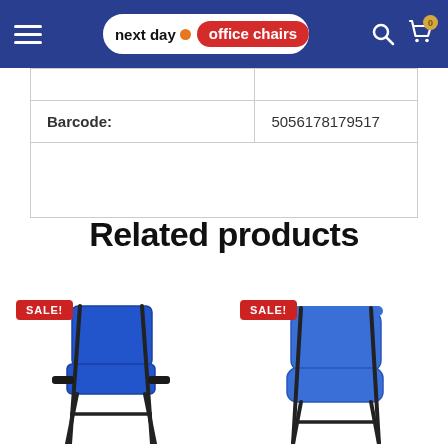next day office chairs
|  |  |
| Barcode: | 5056178179517 |
Related products
[Figure (photo): Blue plastic stacking chair with black metal frame, SALE badge]
[Figure (photo): Blue upholstered office/visitor chair with black metal frame, SALE badge]